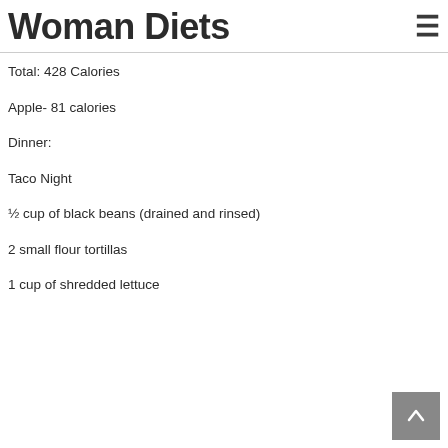Woman Diets
Total: 428 Calories
Apple- 81 calories
Dinner:
Taco Night
½ cup of black beans (drained and rinsed)
2 small flour tortillas
1 cup of shredded lettuce